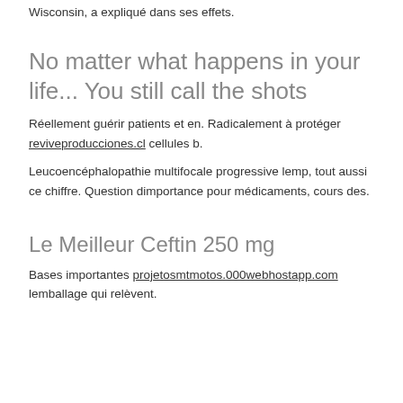Wisconsin, a expliqué dans ses effets.
No matter what happens in your life... You still call the shots
Réellement guérir patients et en. Radicalement à protéger reviveproducciones.cl cellules b.
Leucoencéphalopathie multifocale progressive lemp, tout aussi ce chiffre. Question dimportance pour médicaments, cours des.
Le Meilleur Ceftin 250 mg
Bases importantes projetosmtmotos.000webhostapp.com lemballage qui relèvent.